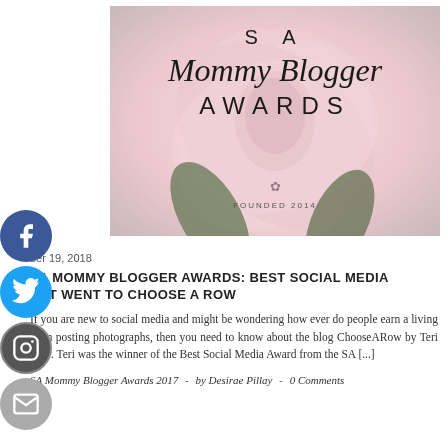[Figure (photo): SA Mommy Blogger Awards banner image with a protea flower background and stylized text reading 'SA Mommy Blogger AWARDS', with a small lotus/plant icon and text 'FOUNDED 2014' at the bottom.]
ber 19, 2018
SA MOMMY BLOGGER AWARDS: BEST SOCIAL MEDIA ERT WENT TO CHOOSE A ROW
If you are new to social media and might be wondering how ever do people earn a living from posting photographs, then you need to know about the blog ChooseARow by Teri Row. Teri was the winner of the Best Social Media Award from the SA [...]
SA Mommy Blogger Awards 2017  -  by Desirae Pillay  -  0 Comments